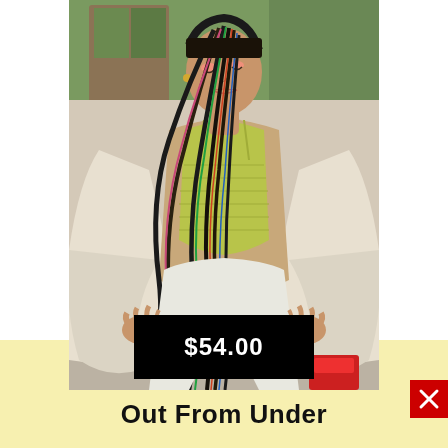[Figure (photo): A young woman with long colorful braids, wearing a yellow-green ribbed tank top, white wide-leg pants, and an open cream/white blazer. She is seated and looking downward. A price tag overlay reads $54.00 on a black background.]
$54.00
Out From Under